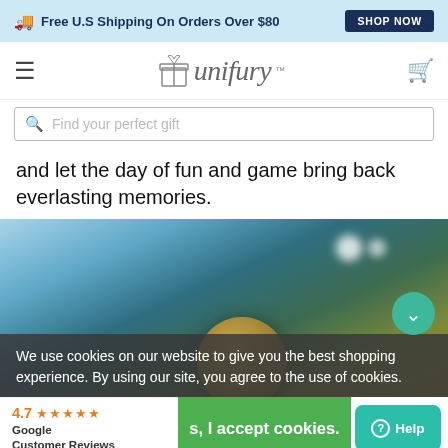🚚 Free U.S Shipping On Orders Over $80  SHOP NOW
[Figure (logo): Unifury logo with gift box icon and stylized italic text]
Find your perfect gift
and let the day of fun and game bring back everlasting memories.
[Figure (photo): Blurred outdoor bokeh background photo showing trees and balls]
We use cookies on our website to give you the best shopping experience. By using our site, you agree to the use of cookies.
s, I accept cookies.
4.7 ★★★★★ Google Customer Reviews
Help